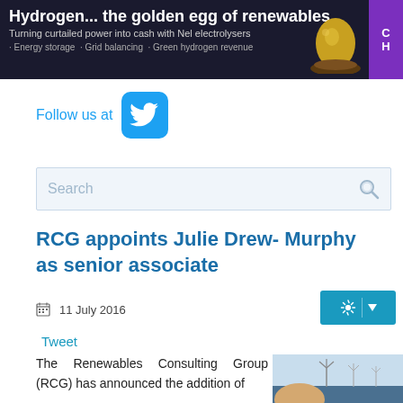[Figure (infographic): Dark banner advertisement: 'Hydrogen... the golden egg of renewables. Turning curtailed power into cash with Nel electrolysers. Energy storage · Grid balancing · Green hydrogen revenue'. Purple strip on right side. Golden egg image on right.]
[Figure (logo): Twitter bird logo icon in blue rounded square, with text 'Follow us at']
[Figure (screenshot): Search bar with placeholder text 'Search' and magnifying glass icon]
RCG appoints Julie Drew- Murphy as senior associate
11 July 2016
Tweet
The Renewables Consulting Group (RCG) has announced the addition of
[Figure (photo): Photo of a woman with blonde hair in front of offshore wind turbines in the sea]